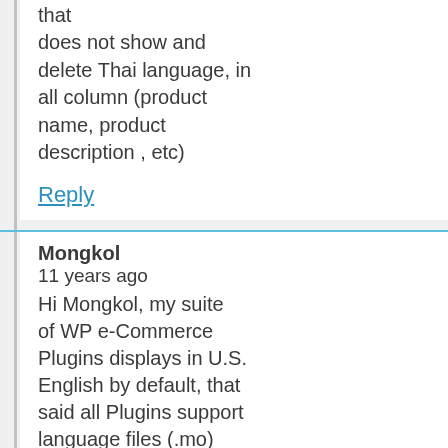that does not show and delete Thai language, in all column (product name, product description , etc)
Reply
Mongkol
11 years ago
Hi Mongkol, my suite of WP e-Commerce Plugins displays in U.S. English by default, that said all Plugins support language files (.mo) which I'll be